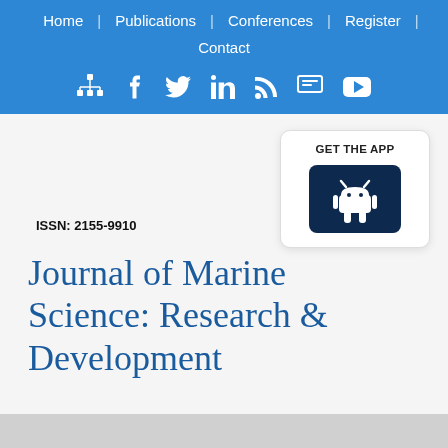Home | Publications | Conferences | Register | Contact
[Figure (other): Navigation bar social media icons: network/sitemap, Facebook, Twitter, LinkedIn, RSS, Slideshare/present, YouTube]
[Figure (other): GET THE APP box with Android robot icon button on dark navy background]
ISSN: 2155-9910
Journal of Marine Science: Research & Development
Like us on: